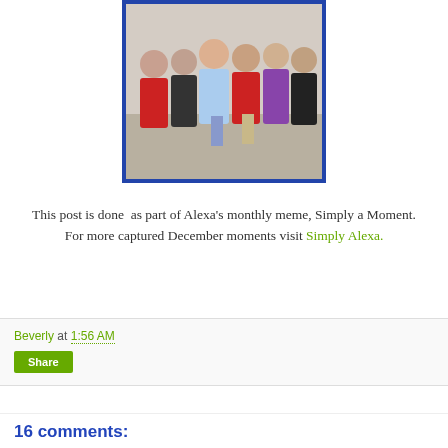[Figure (photo): Group photo of several people, some wearing red, standing together. Photo has a blue border.]
This post is done  as part of Alexa's monthly meme, Simply a Moment.
For more captured December moments visit Simply Alexa.
Beverly at 1:56 AM
Share
16 comments: